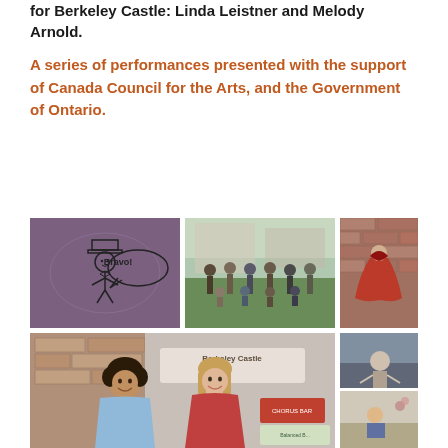for Berkeley Castle: Linda Leistner and Melody Arnold.
A series of performances presented with the support of Canada Council for the Arts, and the Government of Ontario.
[Figure (photo): A collage of six photos related to performances at Berkeley Castle: a cartoon-like drawing with 'Bravo!' text on a purple background, a group of performers/team outdoors, a partial photo of a costumed figure against a brick wall, two women smiling in front of Berkeley Castle sign, and two smaller partial photos on the right.]